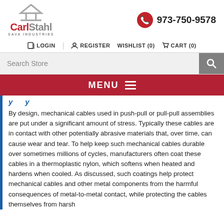[Figure (logo): Carl Stahl Sava Industries logo with triangular roof icon]
973-750-9578
LOGIN   REGISTER   WISHLIST (0)   CART (0)
Search Store
MENU
By design, mechanical cables used in push-pull or pull-pull assemblies are put under a significant amount of stress. Typically these cables are in contact with other potentially abrasive materials that, over time, can cause wear and tear. To help keep such mechanical cables durable over sometimes millions of cycles, manufacturers often coat these cables in a thermoplastic nylon, which softens when heated and hardens when cooled. As discussed, such coatings help protect mechanical cables and other metal components from the harmful consequences of metal-to-metal contact, while protecting the cables themselves from harsh